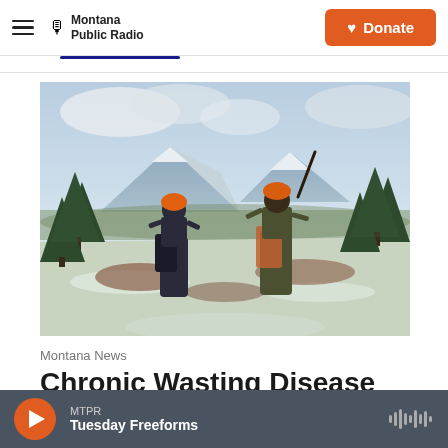Montana Public Radio | Donate
[Figure (photo): Two hunters with orange caps and backpacks standing on a snowy hillside among pine trees, facing away from camera toward a mountain valley landscape.]
Montana News
Chronic Wasting Disease Raises A New Hunti…
MTPR Tuesday Freeforms